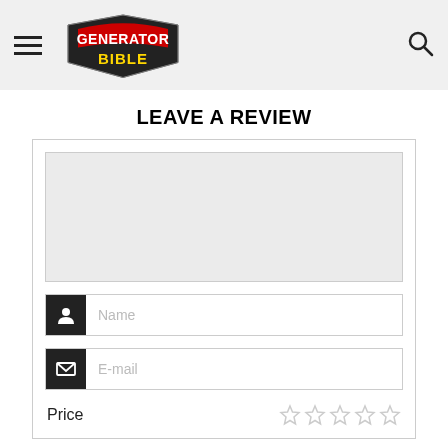Generator Bible – site header with hamburger menu, logo, and search icon
LEAVE A REVIEW
[Figure (screenshot): Web form with a large textarea, Name input field with person icon, E-mail input field with envelope icon, and a Price rating row with star rating icons]
Price